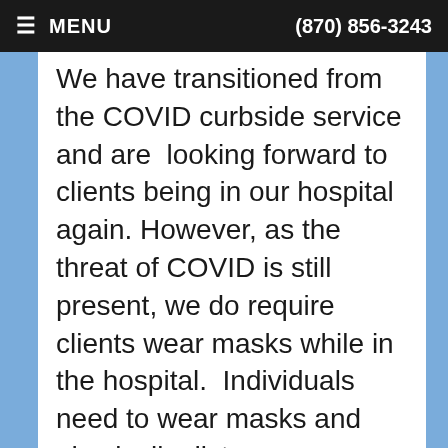≡ MENU   (870) 856-3243
We have transitioned from the COVID curbside service and are looking forward to clients being in our hospital again. However, as the threat of COVID is still present, we do require clients wear masks while in the hospital. Individuals need to wear masks and physically distance themselves from others as much as possible. Within our hospital, providing 6 feet of physical distancing will be a challenge but we are working to provide that safety measure. We are restricting admission to 1 to 2 clients per pet/appointment and also limiting the number of clients in the hospital. For those